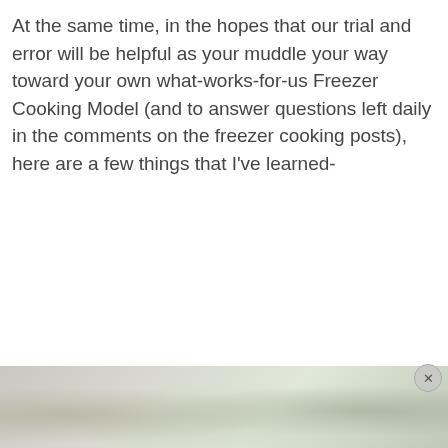At the same time, in the hopes that our trial and error will be helpful as your muddle your way toward your own what-works-for-us Freezer Cooking Model (and to answer questions left daily in the comments on the freezer cooking posts), here are a few things that I've learned-
[Figure (photo): Partially visible advertisement image at the bottom of the page, showing a blurred greenish/grey photo with a close (x) button in the upper right corner of the ad.]